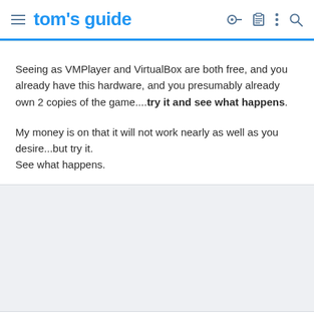tom's guide
Seeing as VMPlayer and VirtualBox are both free, and you already have this hardware, and you presumably already own 2 copies of the game....try it and see what happens.

My money is on that it will not work nearly as well as you desire...but try it.
See what happens.